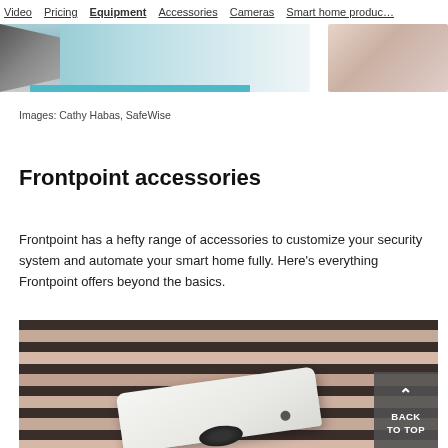Video  Pricing  Equipment  Accessories  Cameras  Smart home products
[Figure (photo): Top portion showing a partial image on the left with a teal/blue element and a partial photo on the right showing what appears to be a sleeping baby or person]
Images: Cathy Habas, SafeWise
Frontpoint accessories
Frontpoint has a hefty range of accessories to customize your security system and automate your smart home fully. Here’s everything Frontpoint offers beyond the basics.
[Figure (photo): Close-up photo of a white Frontpoint sensor/device resting on a striped rug with dark and light brown/pink stripes]